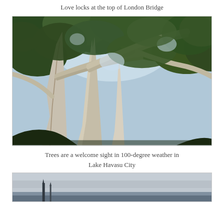Love locks at the top of London Bridge
[Figure (photo): Low-angle view looking up through large white-barked eucalyptus trees with green foliage and blue sky visible through the canopy]
Trees are a welcome sight in 100-degree weather in Lake Havasu City
[Figure (photo): Partial view of another outdoor scene, appears to show a structure or landmark in the distance under an overcast sky]